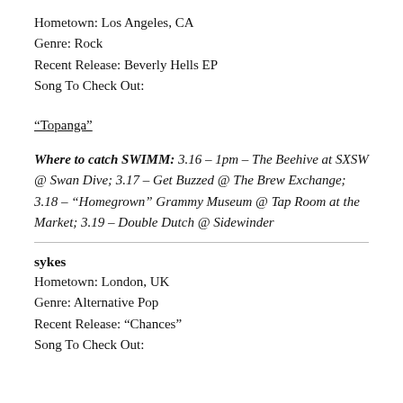Hometown: Los Angeles, CA
Genre: Rock
Recent Release: Beverly Hells EP
Song To Check Out:
“Topanga”
Where to catch SWIMM: 3.16 – 1pm – The Beehive at SXSW @ Swan Dive; 3.17 – Get Buzzed @ The Brew Exchange; 3.18 – “Homegrown” Grammy Museum @ Tap Room at the Market; 3.19 – Double Dutch @ Sidewinder
sykes
Hometown: London, UK
Genre: Alternative Pop
Recent Release: “Chances”
Song To Check Out: